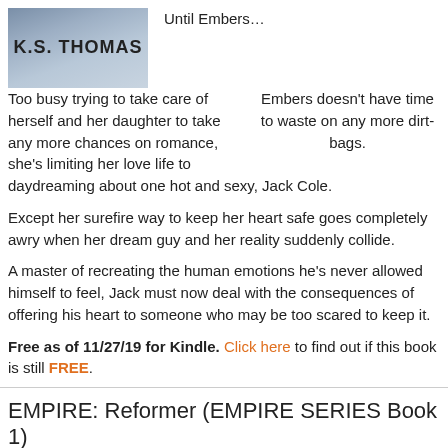[Figure (photo): Book cover image showing 'K.S. THOMAS' in bold letters on a blue-grey gradient background]
Until Embers…
Embers doesn't have time to waste on any more dirt-bags. Too busy trying to take care of herself and her daughter to take any more chances on romance, she's limiting her love life to daydreaming about one hot and sexy, Jack Cole.
Except her surefire way to keep her heart safe goes completely awry when her dream guy and her reality suddenly collide.
A master of recreating the human emotions he's never allowed himself to feel, Jack must now deal with the consequences of offering his heart to someone who may be too scared to keep it.
Free as of 11/27/19 for Kindle. Click here to find out if this book is still FREE.
EMPIRE: Reformer (EMPIRE SERIES Book 1)
By Richard F. Weyand / Genre: Space Fleet, Military, Science Fiction